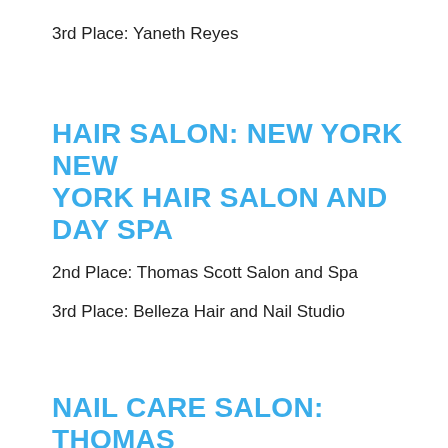3rd Place: Yaneth Reyes
HAIR SALON: NEW YORK NEW YORK HAIR SALON AND DAY SPA
2nd Place: Thomas Scott Salon and Spa
3rd Place: Belleza Hair and Nail Studio
NAIL CARE SALON: THOMAS SCOTT SALON AND SPA
2nd Place: Belleza Hair and Nail Studio
3rd Place: New York New York Salon and...